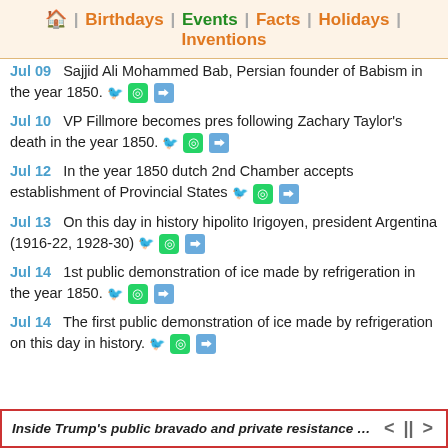🏠 | Birthdays | Events | Facts | Holidays | Inventions
Jul 09  Sajjid Ali Mohammed Bab, Persian founder of Babism in the year 1850.
Jul 10  VP Fillmore becomes pres following Zachary Taylor's death in the year 1850.
Jul 12  In the year 1850 dutch 2nd Chamber accepts establishment of Provincial States
Jul 13  On this day in history hipolito Irigoyen, president Argentina (1916-22, 1928-30)
Jul 14  1st public demonstration of ice made by refrigeration in the year 1850.
Jul 14  The first public demonstration of ice made by refrigeration on this day in history.
Inside Trump's public bravado and private resistance over M